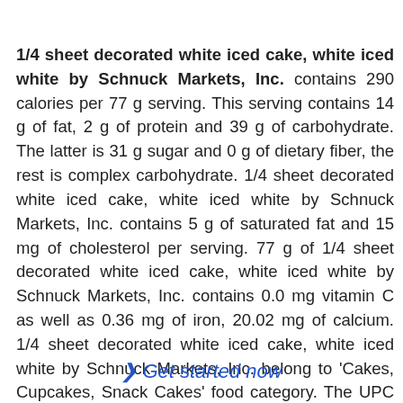1/4 sheet decorated white iced cake, white iced white by Schnuck Markets, Inc. contains 290 calories per 77 g serving. This serving contains 14 g of fat, 2 g of protein and 39 g of carbohydrate. The latter is 31 g sugar and 0 g of dietary fiber, the rest is complex carbohydrate. 1/4 sheet decorated white iced cake, white iced white by Schnuck Markets, Inc. contains 5 g of saturated fat and 15 mg of cholesterol per serving. 77 g of 1/4 sheet decorated white iced cake, white iced white by Schnuck Markets, Inc. contains 0.0 mg vitamin C as well as 0.36 mg of iron, 20.02 mg of calcium. 1/4 sheet decorated white iced cake, white iced white by Schnuck Markets, Inc. belong to 'Cakes, Cupcakes, Snack Cakes' food category. The UPC for this
❯ Get started now